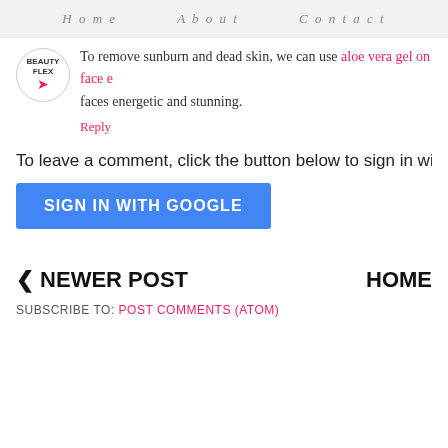Home   About   Contact
To remove sunburn and dead skin, we can use aloe vera gel on face e... faces energetic and stunning.
Reply
To leave a comment, click the button below to sign in with G
[Figure (other): Blue SIGN IN WITH GOOGLE button]
< NEWER POST
HOME
SUBSCRIBE TO: POST COMMENTS (ATOM)